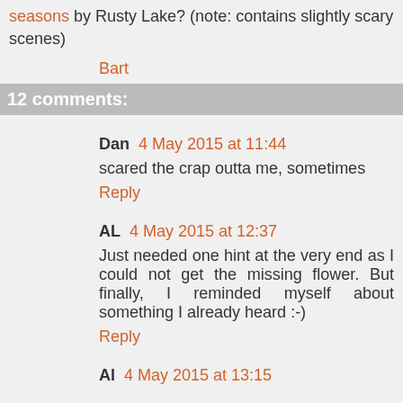seasons by Rusty Lake? (note: contains slightly scary scenes)
Bart
12 comments:
Dan  4 May 2015 at 11:44
scared the crap outta me, sometimes
Reply
AL  4 May 2015 at 12:37
Just needed one hint at the very end as I could not get the missing flower. But finally, I reminded myself about something I already heard :-)
Reply
Al  4 May 2015 at 13:15